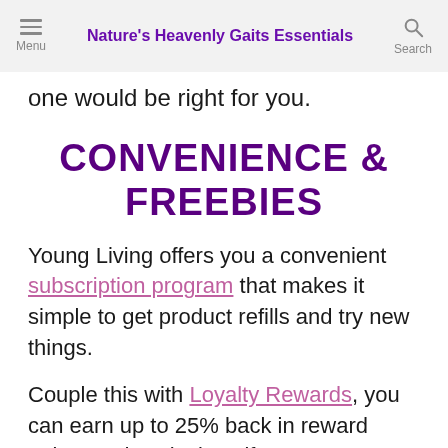Nature's Heavenly Gaits Essentials
one would be right for you.
CONVENIENCE & FREEBIES
Young Living offers you a convenient subscription program that makes it simple to get product refills and try new things.
Couple this with Loyalty Rewards, you can earn up to 25% back in reward points and exclusive gifts!